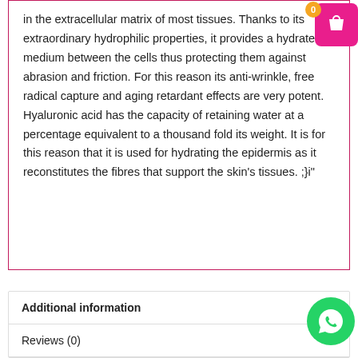in the extracellular matrix of most tissues. Thanks to its extraordinary hydrophilic properties, it provides a hydrated medium between the cells thus protecting them against abrasion and friction. For this reason its anti-wrinkle, free radical capture and aging retardant effects are very potent. Hyaluronic acid has the capacity of retaining water at a percentage equivalent to a thousand fold its weight. It is for this reason that it is used for hydrating the epidermis as it reconstitutes the fibres that support the skin's tissues. ;}i"
Additional information
Reviews (0)